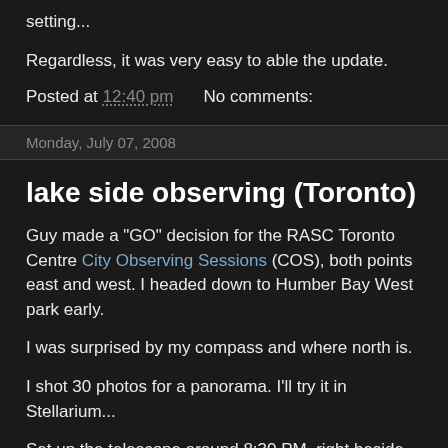setting...
Regardless, it was very easy to able the update.
Posted at 12:40 pm    No comments:
Monday, July 07, 2008
lake side observing (Toronto)
Guy made a "GO" decision for the RASC Toronto Centre City Observing Sessions (COS), both points east and west. I headed down to Humber Bay West park early.
I was surprised by my compass and where north is.
I shot 30 photos for a panorama. I'll try it in Stellarium...
Set up the telescope around 8:30 PM, right beside the walking/bike path. That caught many eyes.
I was ready pretty early, I know. But the Moon was up high,